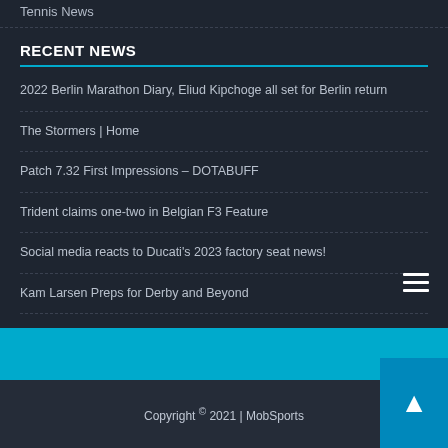Tennis News
RECENT NEWS
2022 Berlin Marathon Diary, Eliud Kipchoge all set for Berlin return
The Stormers | Home
Patch 7.32 First Impressions – DOTABUFF
Trident claims one-two in Belgian F3 Feature
Social media reacts to Ducati's 2023 factory seat news!
Kam Larsen Preps for Derby and Beyond
Mike Burrows obituary | Cycling
Copyright © 2021 | MobSports